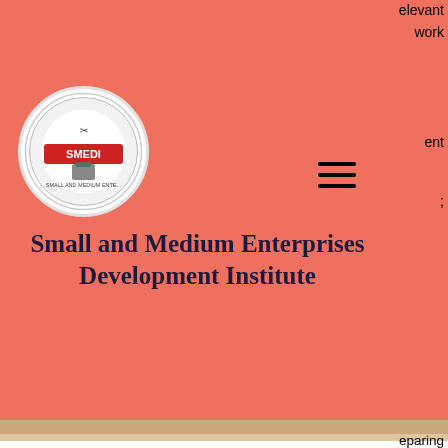[Figure (logo): SMEDI circular logo with scissors/tools icon and 'SMALL AND MEDIUM ENTE...' text around the border]
Small and Medium Enterprises Development Institute
necessary documentation;
Issuing and recording stock;
Ensuring complete and accurate up-to-date records on all supplies received or issued;
Monitoring stock levels to ensure timely replenishment;
Participating in stock taking activities.
Applications with detailed curriculum vitae with at least three names of relevant and traceable referees that include an immediate past employer, should be sent to: